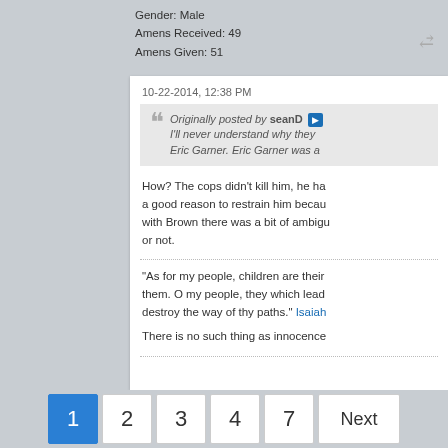Gender: Male
Amens Received: 49
Amens Given: 51
10-22-2014, 12:38 PM
Originally posted by seanD
I'll never understand why they Eric Garner. Eric Garner was a...
How? The cops didn't kill him, he had a good reason to restrain him because with Brown there was a bit of ambiguity or not.
"As for my people, children are their them. O my people, they which lead destroy the way of thy paths." Isaiah
There is no such thing as innocence
1  2  3  4  7  Next